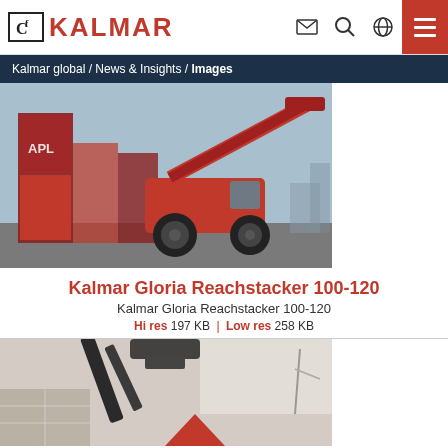Kalmar global / News & Insights / Images
[Figure (photo): Kalmar Gloria Reachstacker 100-120 red forklift lifting APL shipping container at port]
Kalmar Gloria Reachstacker 100-120
Kalmar Gloria Reachstacker 100-120
Hi res 197 KB | Low res 258 KB
[Figure (photo): Black and white photo of industrial crane or reach stacker arm with red Kalmar logo triangle visible against containers]